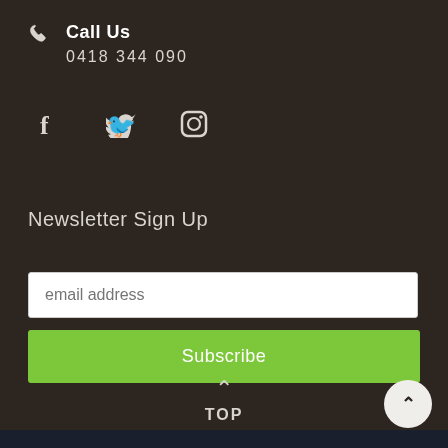Call Us
0418 344 090
[Figure (infographic): Social media icons: Facebook, Twitter, Instagram]
Newsletter Sign Up
email address (input field)
Subscribe (button)
^ TOP
[Figure (other): Circle back-to-top button with caret/arrow up icon]